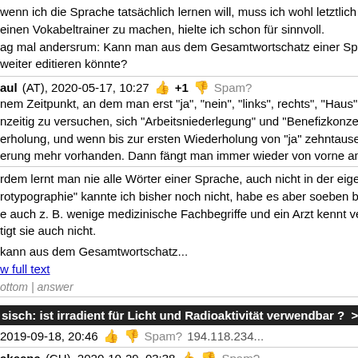wenn ich die Sprache tatsächlich lernen will, muss ich wohl letztlich alle Wo... einen Vokabeltrainer zu machen, hielte ich schon für sinnvoll. ag mal andersrum: Kann man aus dem Gesamtwortschatz einer Sprache eine... weiter editieren könnte?
aul (AT), 2020-05-17, 10:27 +1 Spam?
nem Zeitpunkt, an dem man erst "ja", "nein", "links", rechts', "Haus" und "gehe... nzeitig zu versuchen, sich "Arbeitsniederlegung" und "Benefizkonzert" einzuprä... erholung, und wenn bis zur ersten Wiederholung von "ja" zehntausende ander... erung mehr vorhanden. Dann fängt man immer wieder von vorne an und komm...
rdem lernt man nie alle Wörter einer Sprache, auch nicht in der eigenen Mutte... rotypographie" kannte ich bisher noch nicht, habe es aber soeben bei dict.cc (... e auch z. B. wenige medizinische Fachbegriffe und ein Arzt kennt vermutlich w... tigt sie auch nicht.
kann aus dem Gesamtwortschatz...
w full text
ottom | answer
sisch: ist irradient für Licht und Radioaktivität verwendbar ? >>> #91236
2019-09-18, 20:46 Spam? 194.118.234...
akeena (CH), 2020-10-29, 03:38 Spam?
as bezeichnet grundsätzlich jede Art von Stahlung.
ottom | answer